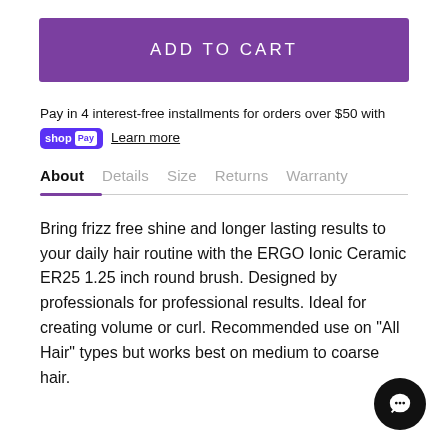ADD TO CART
Pay in 4 interest-free installments for orders over $50 with shop Pay Learn more
About  Details  Size  Returns  Warranty
Bring frizz free shine and longer lasting results to your daily hair routine with the ERGO Ionic Ceramic ER25 1.25 inch round brush. Designed by professionals for professional results. Ideal for creating volume or curl. Recommended use on "All Hair" types but works best on medium to coarse hair.